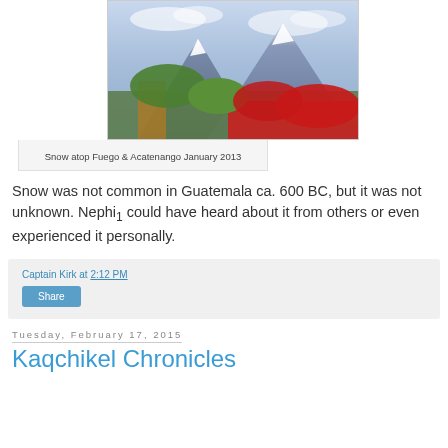[Figure (photo): Photo of snow-capped volcanoes (Fuego and Acatenango) with red flowers and green trees in the foreground, blue sky with clouds]
Snow atop Fuego & Acatenango January 2013
Snow was not common in Guatemala ca. 600 BC, but it was not unknown. Nephi₁ could have heard about it from others or even experienced it personally.
Captain Kirk at 2:12 PM
Share
Tuesday, February 17, 2015
Kaqchikel Chronicles